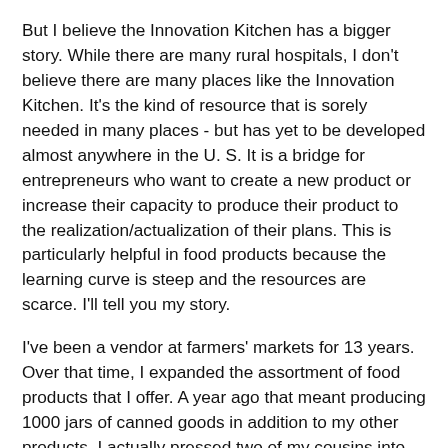But I believe the Innovation Kitchen has a bigger story. While there are many rural hospitals, I don't believe there are many places like the Innovation Kitchen. It's the kind of resource that is sorely needed in many places - but has yet to be developed almost anywhere in the U. S. It is a bridge for entrepreneurs who want to create a new product or increase their capacity to produce their product to the realization/actualization of their plans. This is particularly helpful in food products because the learning curve is steep and the resources are scarce. I'll tell you my story.
I've been a vendor at farmers' markets for 13 years. Over that time, I expanded the assortment of food products that I offer. A year ago that meant producing 1000 jars of canned goods in addition to my other products. I actually pressed two of my cousins into service to help produce these products. We reached the practical limit of our joint capacity.
So, I began a search for a processing partner who would have enough capacity to meet my growing needs as I began to expand into sales to food and gift stores, but was not so large that I would alter their pricing or sales experience.